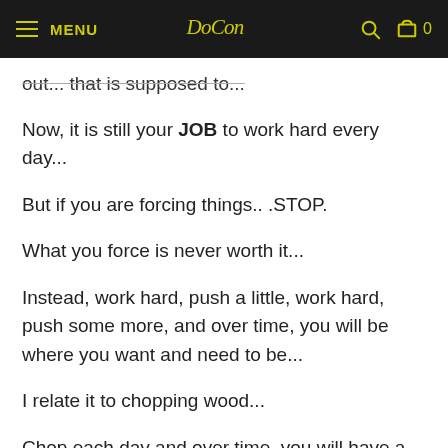MENU  [logo]  [search] [cart] 0
out... that is supposed to...
Now, it is still your JOB to work hard every day...
But if you are forcing things.. .STOP.
What you force is never worth it...
Instead, work hard, push a little, work hard, push some more, and over time, you will be where you want and need to be...
I relate it to chopping wood...
Chop each day and over time, you will have a pile of wood